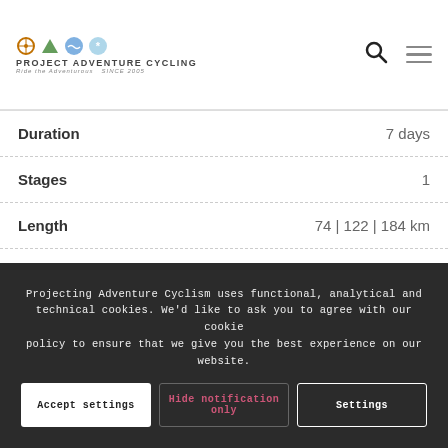Project Adventure Cycling — Ride the Adventurous Since 2005
| Field | Value |
| --- | --- |
| Duration | 7 days |
| Stages | 1 |
| Length | 74 | 122 | 184 km |
| Elevation | 960 | 1.655 | 3.076 m |
| Difficulty | Medium | Hard | Very Hard |
Projecting Adventure Cyclism uses functional, analytical and technical cookies. We'd like to ask you to agree with our cookie policy to ensure that we give you the best experience on our website.
Accept settings
Hide notification only
Settings